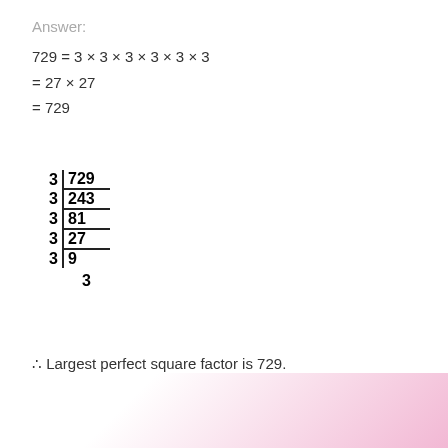Answer:
[Figure (other): Long division / factor tree table showing 729 divided by 3 repeatedly: 729, 243, 81, 27, 9, 3]
∴ Largest perfect square factor is 729.
Question (iv)
[Figure (other): Row of circular badges: KSEEB Solutions Class 3, 4, 5, 6, 7, 8, 9, 10, 1st PUC, 2nd PUC, KSEEB Books on a pink gradient background]